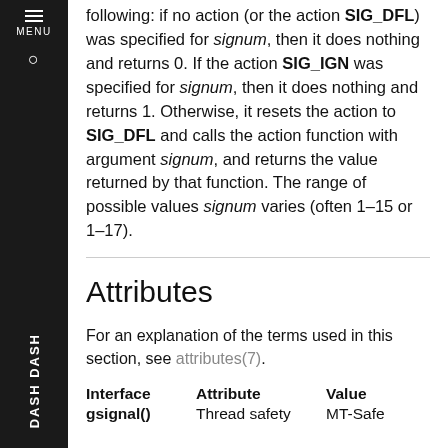following: if no action (or the action SIG_DFL) was specified for signum, then it does nothing and returns 0. If the action SIG_IGN was specified for signum, then it does nothing and returns 1. Otherwise, it resets the action to SIG_DFL and calls the action function with argument signum, and returns the value returned by that function. The range of possible values signum varies (often 1–15 or 1–17).
Attributes
For an explanation of the terms used in this section, see attributes(7).
| Interface | Attribute | Value |
| --- | --- | --- |
| gsignal() | Thread safety | MT-Safe |